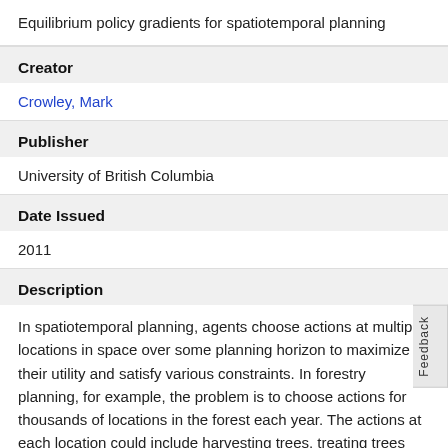Equilibrium policy gradients for spatiotemporal planning
Creator
Crowley, Mark
Publisher
University of British Columbia
Date Issued
2011
Description
In spatiotemporal planning, agents choose actions at multiple locations in space over some planning horizon to maximize their utility and satisfy various constraints. In forestry planning, for example, the problem is to choose actions for thousands of locations in the forest each year. The actions at each location could include harvesting trees, treating trees against disease and pests, or doing nothing. A utility model could place value on sale of forest products, ecosystem sustainability or employment levels, and could incorporate legal and logistical constraints such as avoiding large